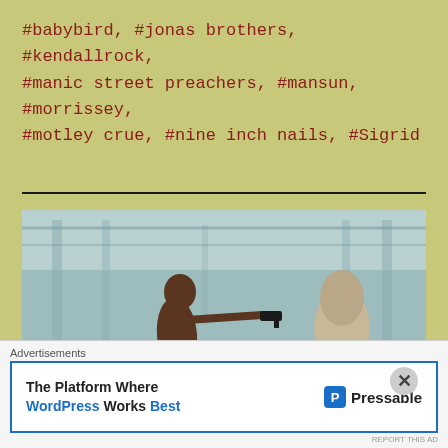#babybird, #jonas brothers, #kendallrock, #manic street preachers, #mansun, #morrissey, #motley crue, #nine inch nails, #Sigrid
[Figure (photo): A shirtless man pointing a handgun at a hooded figure seated on a chair, in what appears to be an industrial or warehouse setting. Still from a music video.]
Advertisements
The Platform Where WordPress Works Best — Pressable